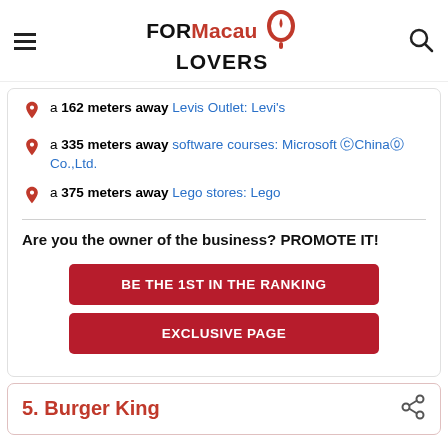FORMacau LOVERS
a 162 meters away Levis Outlet: Levi's
a 335 meters away software courses: Microsoft ⓒChina⓪ Co.,Ltd.
a 375 meters away Lego stores: Lego
Are you the owner of the business? PROMOTE IT!
BE THE 1ST IN THE RANKING
EXCLUSIVE PAGE
5. Burger King